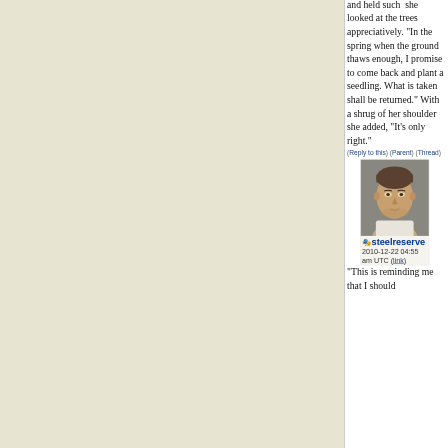and held such she looked at the trees appreciatively. "In the spring when the ground thaws enough, I promise to come back and plant a seedling. What is taken shall be returned." With a shrug of her shoulder she added, "It's only right."
(Reply to this) (Parent) (Thread)
[Figure (photo): Portrait photo of a young man with short hair wearing a white tank top, against a grey background]
steelreserve
2010-12-22 04:55 am UTC (link)
"This is reminding me that I should